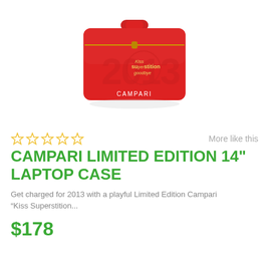[Figure (photo): Red Campari Limited Edition 14-inch laptop case with handle, zipper, and '2013 Kiss Superstition Goodbye' branding on the front. The bag is red with subtle embossed 2013 text.]
☆☆☆☆☆   More like this
CAMPARI LIMITED EDITION 14" LAPTOP CASE
Get charged for 2013 with a playful Limited Edition Campari "Kiss Superstition...
$178